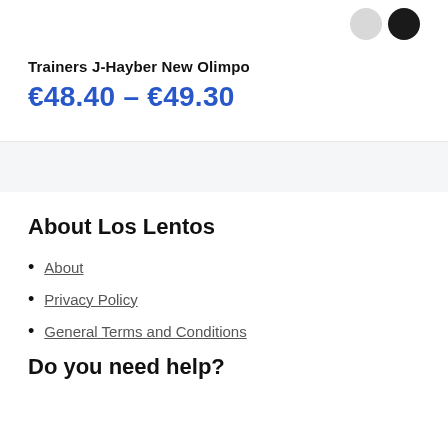[Figure (other): Two color selector circles (light gray and dark/black) for product color options]
Trainers J-Hayber New Olimpo
€48.40 – €49.30
About Los Lentos
About
Privacy Policy
General Terms and Conditions
Do you need help?